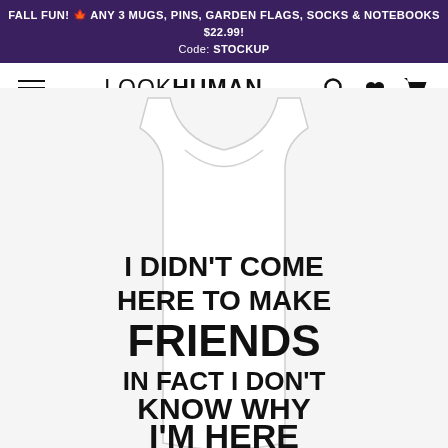FALL FUN! 🍁 ANY 3 MUGS, PINS, GARDEN FLAGS, SOCKS & NOTEBOOKS $22.99! Code: STOCKUP
[Figure (logo): LookHuman website navigation bar with hamburger menu, LOOKHUMAN logo, search icon, heart icon, and cart icon]
[Figure (photo): White tank top with bold black text reading: I DIDN'T COME HERE TO MAKE FRIENDS IN FACT I DON'T KNOW WHY I'M HERE AT ALL]